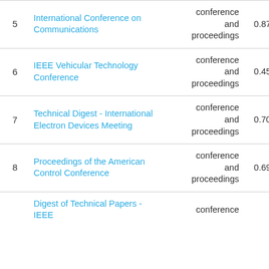| # | Name | Type | Score | Count | Extra |
| --- | --- | --- | --- | --- | --- |
| 5 | International Conference on Communications | conference and proceedings | 0.870 | 123 | 7 |
| 6 | IEEE Vehicular Technology Conference | conference and proceedings | 0.459 | 120 | 9 |
| 7 | Technical Digest - International Electron Devices Meeting | conference and proceedings | 0.705 | 119 |  |
| 8 | Proceedings of the American Control Conference | conference and proceedings | 0.692 | 116 | 8 |
| 9 | Digest of Technical Papers - IEEE | conference |  |  |  |